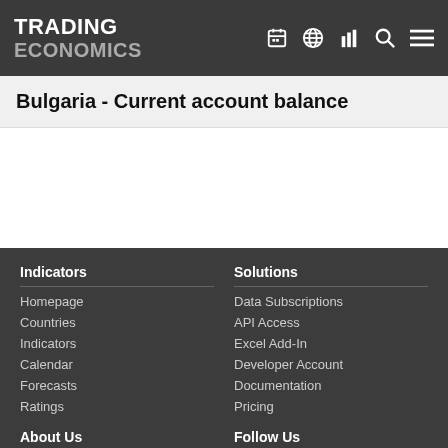TRADING ECONOMICS
Bulgaria - Current account balance
Indicators
Homepage
Countries
Indicators
Calendar
Forecasts
Ratings
Solutions
Data Subscriptions
API Access
Excel Add-In
Developer Account
Documentation
Pricing
About Us
Follow Us